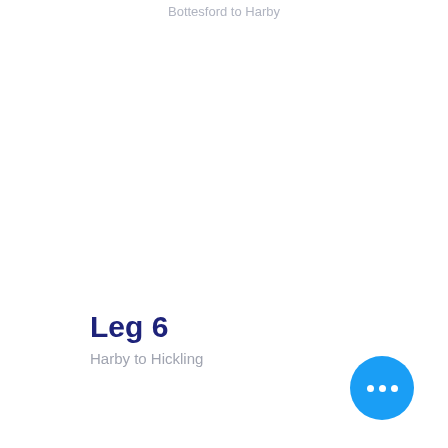Bottesford to Harby
Leg 6
Harby to Hickling
[Figure (other): Blue circular button with three white dots (ellipsis/more options button)]